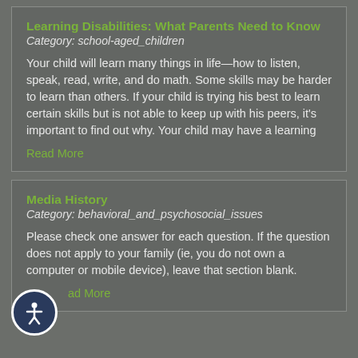Learning Disabilities: What Parents Need to Know
Category: school-aged_children
Your child will learn many things in life—how to listen, speak, read, write, and do math. Some skills may be harder to learn than others. If your child is trying his best to learn certain skills but is not able to keep up with his peers, it's important to find out why. Your child may have a learning
Read More
Media History
Category: behavioral_and_psychosocial_issues
Please check one answer for each question. If the question does not apply to your family (ie, you do not own a computer or mobile device), leave that section blank.
Read More